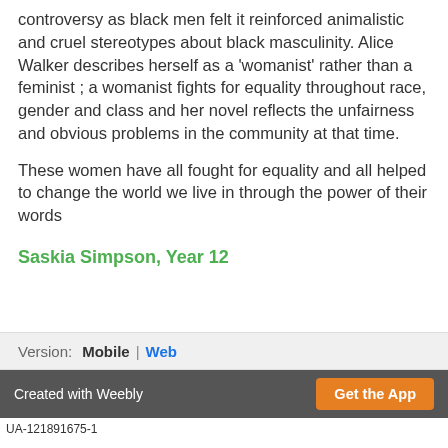controversy as black men felt it reinforced animalistic and cruel stereotypes about black masculinity. Alice Walker describes herself as a 'womanist' rather than a feminist ; a womanist fights for equality throughout race, gender and class and her novel reflects the unfairness and obvious problems in the community at that time.
These women have all fought for equality and all helped to change the world we live in through the power of their words
Saskia Simpson, Year 12
Version:  Mobile  |  Web
Created with Weebly  Get the App
UA-121891675-1